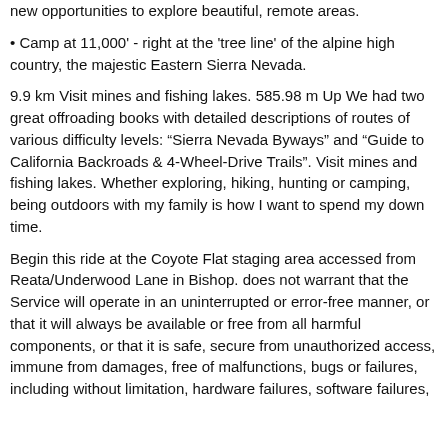new opportunities to explore beautiful, remote areas.
• Camp at 11,000' - right at the 'tree line' of the alpine high country, the majestic Eastern Sierra Nevada.
9.9 km Visit mines and fishing lakes. 585.98 m Up We had two great offroading books with detailed descriptions of routes of various difficulty levels: “Sierra Nevada Byways” and “Guide to California Backroads & 4-Wheel-Drive Trails”. Visit mines and fishing lakes. Whether exploring, hiking, hunting or camping, being outdoors with my family is how I want to spend my down time.
Begin this ride at the Coyote Flat staging area accessed from Reata/Underwood Lane in Bishop. does not warrant that the Service will operate in an uninterrupted or error-free manner, or that it will always be available or free from all harmful components, or that it is safe, secure from unauthorized access, immune from damages, free of malfunctions, bugs or failures, including without limitation, hardware failures, software failures, and software errors, or other failures.